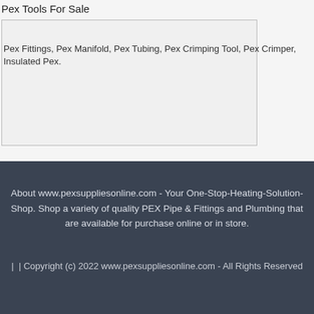Pex Tools For Sale
Pex Fittings, Pex Manifold, Pex Tubing, Pex Crimping Tool, Pex Crimper, Insulated Pex.
About www.pexsuppliesonline.com - Your One-Stop-Heating-Solution-Shop. Shop a variety of quality PEX Pipe & Fittings and Plumbing that are available for purchase online or in store.
| | Copyright (c) 2022 www.pexsuppliesonline.com - All Rights Reserved